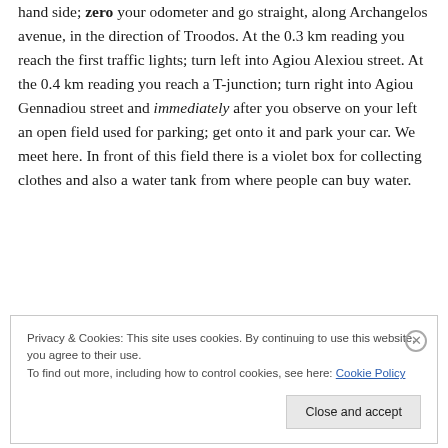hand side; zero your odometer and go straight, along Archangelos avenue, in the direction of Troodos. At the 0.3 km reading you reach the first traffic lights; turn left into Agiou Alexiou street. At the 0.4 km reading you reach a T-junction; turn right into Agiou Gennadiou street and immediately after you observe on your left an open field used for parking; get onto it and park your car. We meet here. In front of this field there is a violet box for collecting clothes and also a water tank from where people can buy water.
Privacy & Cookies: This site uses cookies. By continuing to use this website, you agree to their use.
To find out more, including how to control cookies, see here: Cookie Policy